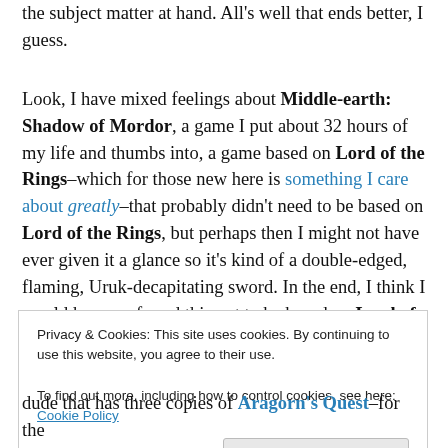the subject matter at hand. All's well that ends better, I guess.
Look, I have mixed feelings about Middle-earth: Shadow of Mordor, a game I put about 32 hours of my life and thumbs into, a game based on Lord of the Rings–which for those new here is something I care about greatly–that probably didn't need to be based on Lord of the Rings, but perhaps then I might not have ever given it a glance so it's kind of a double-edged, flaming, Uruk-decapitating sword. In the end, I think I would have preferred this not to be based on Lord of the Rings and, as a result,
Privacy & Cookies: This site uses cookies. By continuing to use this website, you agree to their use.
To find out more, including how to control cookies, see here: Cookie Policy
dude that has three copies of Aragorn's Quest–for the